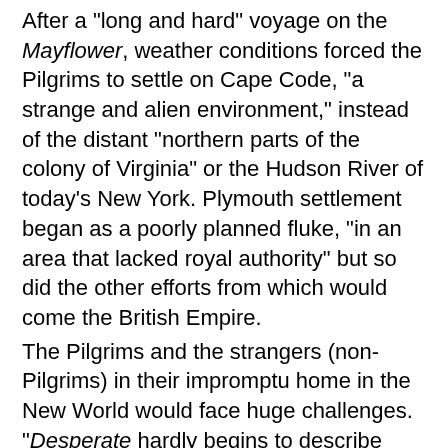After a "long and hard" voyage on the Mayflower, weather conditions forced the Pilgrims to settle on Cape Code, "a strange and alien environment," instead of the distant "northern parts of the colony of Virginia" or the Hudson River of today's New York. Plymouth settlement began as a poorly planned fluke, "in an area that lacked royal authority" but so did the other efforts from which would come the British Empire.
The Pilgrims and the strangers (non-Pilgrims) in their impromptu home in the New World would face huge challenges. "Desperate hardly begins to describe them." Half of these 130 settlers died in the first winter of 1620–21" from sickness. Of the survivors, half were "children and teenagers."
Fourteen of the settlement's 18 adult women died that first year. Settlers buried children and spouses. Pilgrims like widow and mother Susanna White married from the survivors; with widower Edward